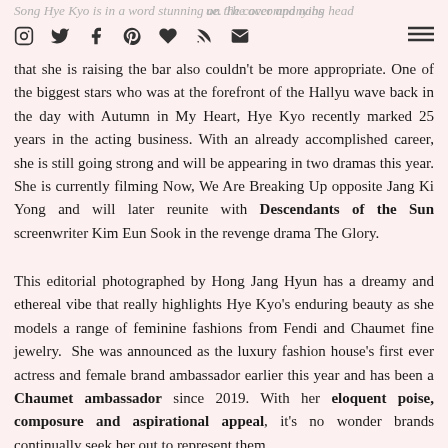Song Hye Kyo is in a word stunning on the cover and nabs the S magazine's... The accompanying head... [icons row]
that she is raising the bar also couldn't be more appropriate. One of the biggest stars who was at the forefront of the Hallyu wave back in the day with Autumn in My Heart, Hye Kyo recently marked 25 years in the acting business. With an already accomplished career, she is still going strong and will be appearing in two dramas this year. She is currently filming Now, We Are Breaking Up opposite Jang Ki Yong and will later reunite with Descendants of the Sun screenwriter Kim Eun Sook in the revenge drama The Glory.
This editorial photographed by Hong Jang Hyun has a dreamy and ethereal vibe that really highlights Hye Kyo's enduring beauty as she models a range of feminine fashions from Fendi and Chaumet fine jewelry. She was announced as the luxury fashion house's first ever actress and female brand ambassador earlier this year and has been a Chaumet ambassador since 2019. With her eloquent poise, composure and aspirational appeal, it's no wonder brands continually seek her out to represent them.